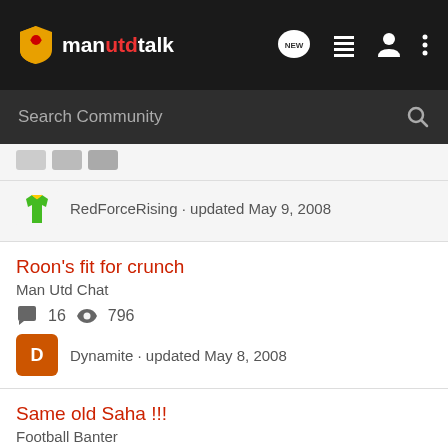manutdtalk
Search Community
RedForceRising · updated May 9, 2008
Roon's fit for crunch
Man Utd Chat
16  796
Dynamite · updated May 8, 2008
Same old Saha !!!
Football Banter
8  565
red dave · updated Sep 20, 2009